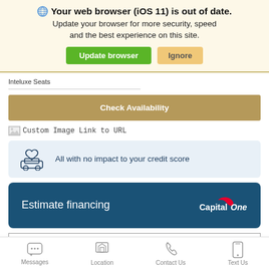Your web browser (iOS 11) is out of date. Update your browser for more security, speed and the best experience on this site.
Update browser | Ignore
Inteluxe Seats
Check Availability
Custom Image Link to URL
All with no impact to your credit score
Estimate financing
RIZZA
NEW 2023
Messages  Location  Contact Us  Text Us